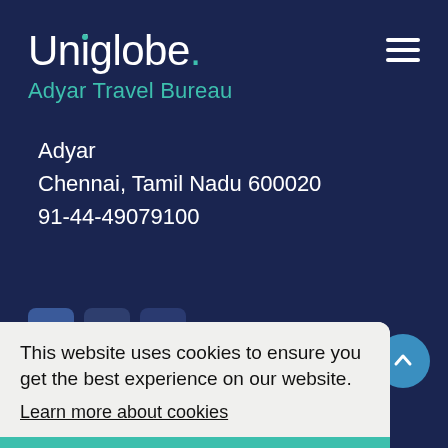Uniglobe. Adyar Travel Bureau
Adyar
Chennai, Tamil Nadu 600020
91-44-49079100
[Figure (screenshot): Social media icons (Facebook, Twitter, YouTube) visible partially behind cookie popup]
This website uses cookies to ensure you get the best experience on our website.
Learn more about cookies
Agree
ited Partnership - All agencies independently owned and operated.